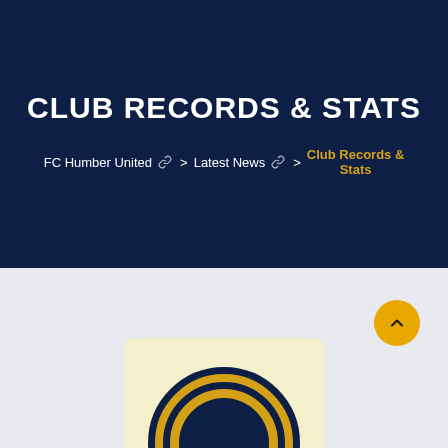CLUB RECORDS & STATS
FC Humber United > Latest News > Club Records & Stats
[Figure (logo): FC Humber United club emblem/logo partially visible at bottom of page, circular design with navy blue and gold colors on a cream/yellow background card]